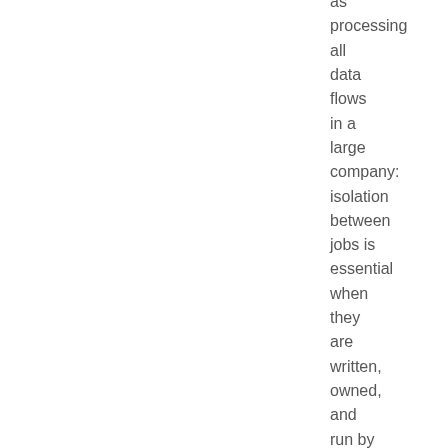as processing all data flows in a large company: isolation between jobs is essential when they are written, owned, and run by different teams in different